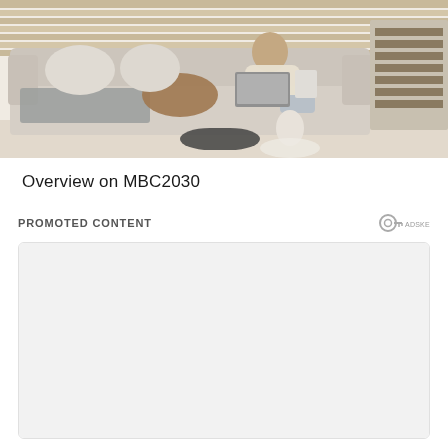[Figure (photo): Woman sitting on a beige sofa with a laptop, reading a magazine, in a cozy living room with shelves and books in the background]
Overview on MBC2030
PROMOTED CONTENT
[Figure (other): Adskeeper logo — a circular key icon with the text ADSKEEPER]
[Figure (other): Advertisement/promoted content box (empty ad unit with rounded border)]